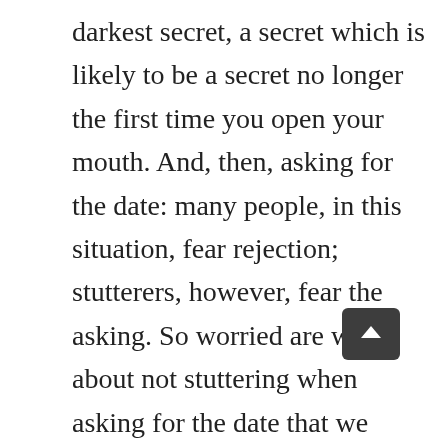darkest secret, a secret which is likely to be a secret no longer the first time you open your mouth. And, then, asking for the date: many people, in this situation, fear rejection; stutterers, however, fear the asking. So worried are we about not stuttering when asking for the date that we don't have any worrying-energy left to fret about the answer.
And suppose then that these initial obstacles are surmounted. A friendship begins, the relationship grows, you fall in